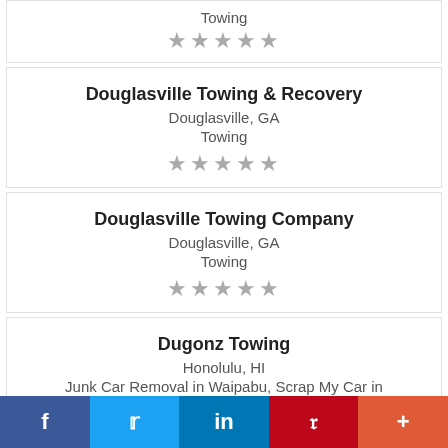Towing
★★★★★
Douglasville Towing & Recovery
Douglasville, GA
Towing
★★★★★
Douglasville Towing Company
Douglasville, GA
Towing
★★★★★
Dugonz Towing
Honolulu, HI
Junk Car Removal in Waipabu, Scrap My Car in
f  t  in  P  +